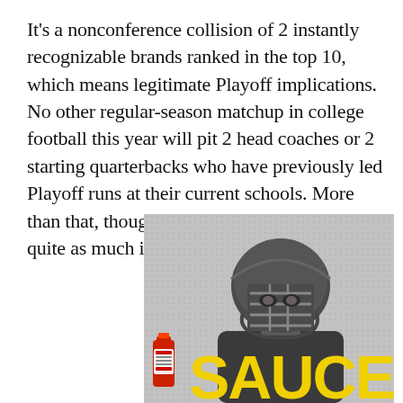It's a nonconference collision of 2 instantly recognizable brands ranked in the top 10, which means legitimate Playoff implications. No other regular-season matchup in college football this year will pit 2 head coaches or 2 starting quarterbacks who have previously led Playoff runs at their current schools. More than that, though, no other matchup will carry quite as much intersectional baggage.
[Figure (photo): Black and white photo of a football player wearing a helmet and jersey, with large yellow 'SAUCE' text and a small red hot sauce bottle visible at the bottom left of the image.]